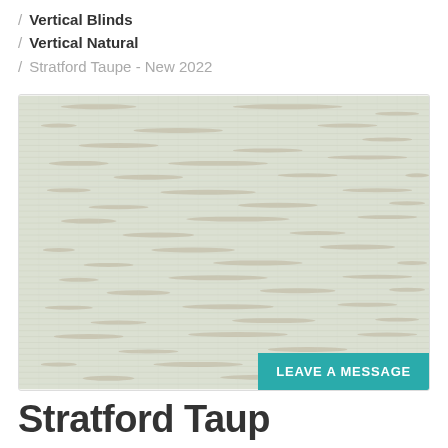/ Vertical Blinds
/ Vertical Natural
/ Stratford Taupe - New 2022
[Figure (photo): Close-up photograph of a woven natural fabric texture in pale sage green and taupe tones, showing horizontal woven fiber patterns typical of vertical blind material.]
Stratford Taup…